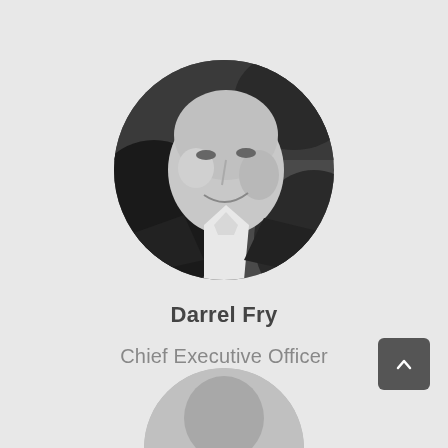[Figure (photo): Circular cropped black and white headshot of Darrel Fry, a middle-aged man in a suit, smiling]
Darrel Fry
Chief Executive Officer
[Figure (photo): Partial circular cropped black and white headshot of another person, partially visible at bottom of page]
[Figure (other): Dark gray scroll-to-top button with upward chevron arrow in bottom right corner]